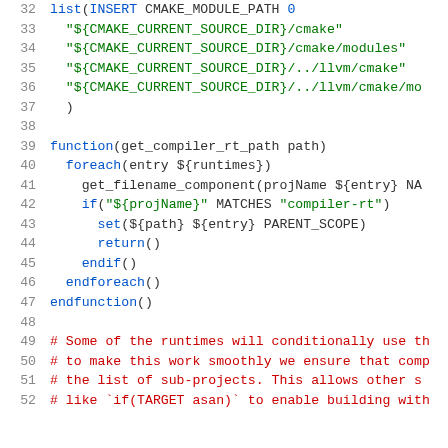Code snippet showing CMake configuration: list INSERT CMAKE_MODULE_PATH, function get_compiler_rt_path, foreach/if/set/return/endif/endforeach/endfunction blocks, and comments about runtimes and sub-projects. Lines 32-52.